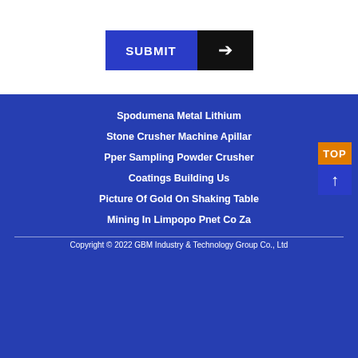[Figure (other): Submit button with blue left section labeled SUBMIT and black right section with white arrow icon]
[Figure (photo): Background photo of industrial mining crushing station machinery with blue color overlay]
Spodumena Metal Lithium
Stone Crusher Machine Apillar
Pper Sampling Powder Crusher
Coatings Building Us
Picture Of Gold On Shaking Table
Mining In Limpopo Pnet Co Za
Copyright © 2022 GBM Industry & Technology Group Co., Ltd